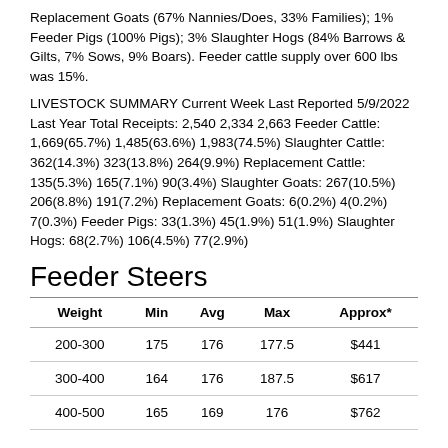Replacement Goats (67% Nannies/Does, 33% Families); 1% Feeder Pigs (100% Pigs); 3% Slaughter Hogs (84% Barrows & Gilts, 7% Sows, 9% Boars). Feeder cattle supply over 600 lbs was 15%.
LIVESTOCK SUMMARY Current Week Last Reported 5/9/2022 Last Year Total Receipts: 2,540 2,334 2,663 Feeder Cattle: 1,669(65.7%) 1,485(63.6%) 1,983(74.5%) Slaughter Cattle: 362(14.3%) 323(13.8%) 264(9.9%) Replacement Cattle: 135(5.3%) 165(7.1%) 90(3.4%) Slaughter Goats: 267(10.5%) 206(8.8%) 191(7.2%) Replacement Goats: 6(0.2%) 4(0.2%) 7(0.3%) Feeder Pigs: 33(1.3%) 45(1.9%) 51(1.9%) Slaughter Hogs: 68(2.7%) 106(4.5%) 77(2.9%)
Feeder Steers
| Weight | Min | Avg | Max | Approx* |
| --- | --- | --- | --- | --- |
| 200-300 | 175 | 176 | 177.5 | $441 |
| 300-400 | 164 | 176 | 187.5 | $617 |
| 400-500 | 165 | 169 | 176 | $762 |